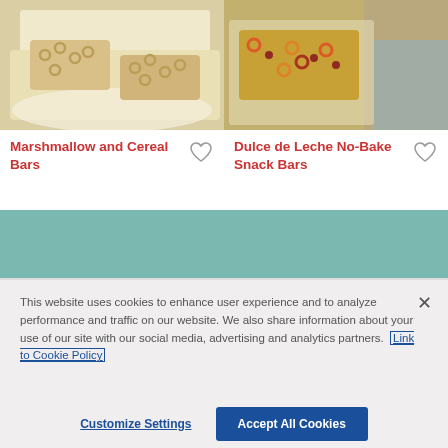[Figure (photo): Photo of marshmallow and cereal bars on a white plate, showing square cereal-cluster bars]
[Figure (photo): Photo of Dulce de Leche no-bake snack bars with colored cereal loops and cranberries on a white plate with blue cloth]
Marshmallow and Cereal Bars
Dulce de Leche No-Bake Snack Bars
This website uses cookies to enhance user experience and to analyze performance and traffic on our website. We also share information about your use of our site with our social media, advertising and analytics partners. Link to Cookie Policy
Customize Settings
Accept All Cookies